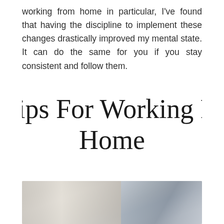working from home in particular, I've found that having the discipline to implement these changes drastically improved my mental state. It can do the same for you if you stay consistent and follow them.
My Tips For Working From Home
[Figure (photo): Blurred indoor/outdoor scene, likely a home office or workspace, with muted grey and beige tones and a partially visible object on the right side.]